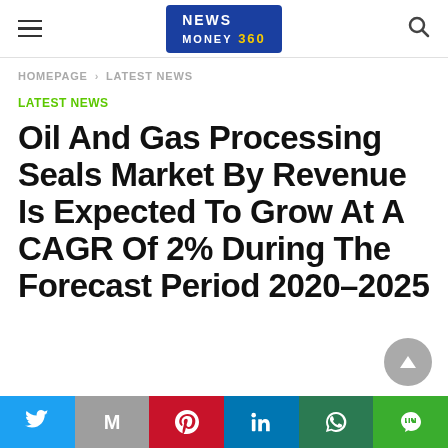NEWS MONEY 360
HOMEPAGE › LATEST NEWS
LATEST NEWS
Oil And Gas Processing Seals Market By Revenue Is Expected To Grow At A CAGR Of 2% During The Forecast Period 2020–2025